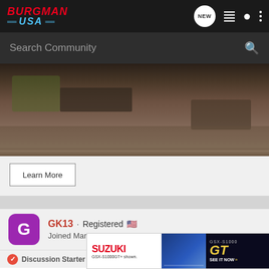Burgman USA — navigation header with logo, NEW badge, list icon, user icon, more icon
Search Community
[Figure (photo): Close-up photo of rocky terrain with soil and stones, partial view of a motorcycle tire/wheel on the ground]
Learn More
[Figure (infographic): User profile card: Avatar 'G' in purple square, username GK13 (red), Registered, US flag, Joined Mar 12, 2013 · 1,035 Posts]
GK13 · Registered 🇺🇸 Joined Mar 12, 2013 · 1,035 Posts
Discussion Starter · #13 · Aug 9, 2013
Got the     before.     appy I di...
[Figure (screenshot): Suzuki advertisement banner for GSX-S1000GT model showing motorcycle image and 'SEE IT NOW >>' call to action]